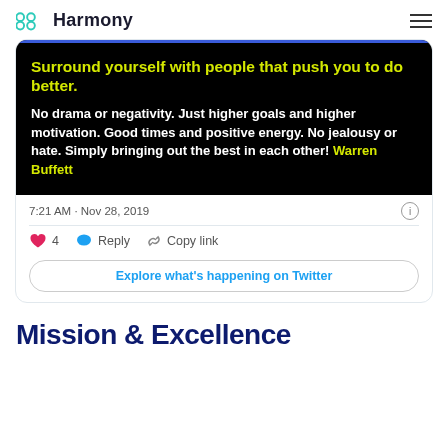Harmony
[Figure (screenshot): A Twitter/social media post screenshot showing a motivational quote image with yellow bold text on black background: 'Surround yourself with people that push you to do better.' followed by white text 'No drama or negativity. Just higher goals and higher motivation. Good times and positive energy. No jealousy or hate. Simply bringing out the best in each other!' attributed to Warren Buffett in yellow. Below the image shows timestamp '7:21 AM · Nov 28, 2019', a like count of 4, Reply and Copy link buttons, and an 'Explore what's happening on Twitter' button.]
Mission & Excellence